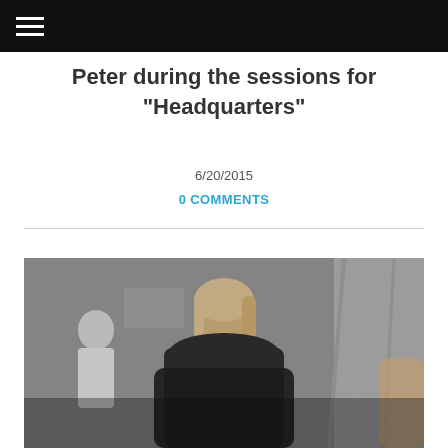≡
Peter during the sessions for "Headquarters"
6/20/2015
0 COMMENTS
[Figure (photo): Black and white photograph of Peter during recording sessions, with another person visible in the background on the left.]